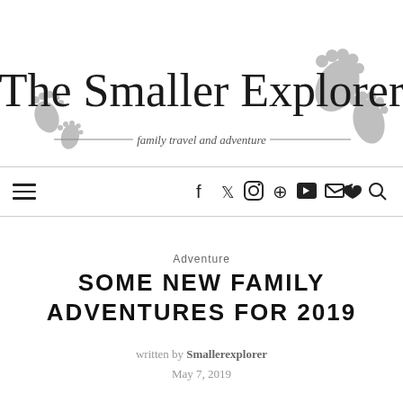[Figure (logo): The Smaller Explorer blog logo with script text and footprint decorations, tagline reads 'family travel and adventure']
family travel and adventure
Adventure
SOME NEW FAMILY ADVENTURES FOR 2019
written by Smallerexplorer
May 7, 2019